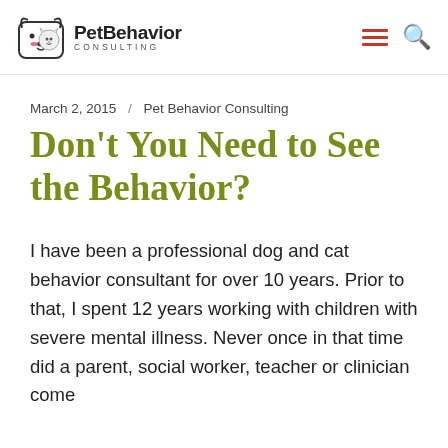PetBehavior CONSULTING
March 2, 2015  /  Pet Behavior Consulting
Don't You Need to See the Behavior?
I have been a professional dog and cat behavior consultant for over 10 years. Prior to that, I spent 12 years working with children with severe mental illness. Never once in that time did a parent, social worker, teacher or clinician come